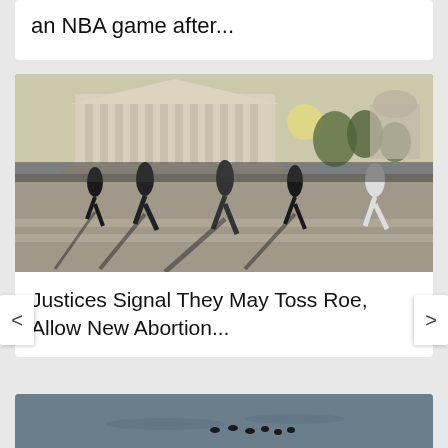an NBA game after...
[Figure (photo): People walking across a street in front of the US Supreme Court building. Several figures in dark clothing cast long shadows on the pavement. A crowd is visible in the background near the court steps. Trees and another domed building visible in background.]
Justices Signal They May Toss Roe, Allow New Abortion...
[Figure (photo): Partial view of a body of water with small dark figures, possibly ducks or birds, visible on the surface.]